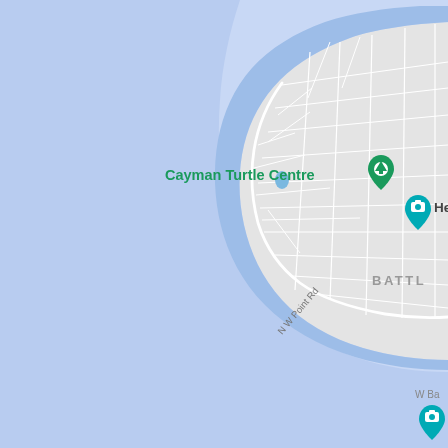[Figure (map): Google Maps screenshot showing the northwestern tip of Grand Cayman island. The map displays a peninsula surrounded by light blue ocean water. Key labels visible: 'Cayman Turtle Centre' with a green location pin on the left side of the peninsula, 'Hell, Grand C' with a teal camera icon in the upper right, 'BATTL' (partially visible text, likely Battle of Grand Cayman area) on the right, 'N W Point Rd' road label along the western coast, 'West Bay Beach' with a green location pin in the lower right, 'W Ba' partially visible road label at bottom right, and 'Kittiwake Shipwreck & Artificial Reef' with a teal camera icon at the bottom right. The land area is shown in light gray with a network of white roads, and is surrounded by varying shades of blue representing the ocean.]